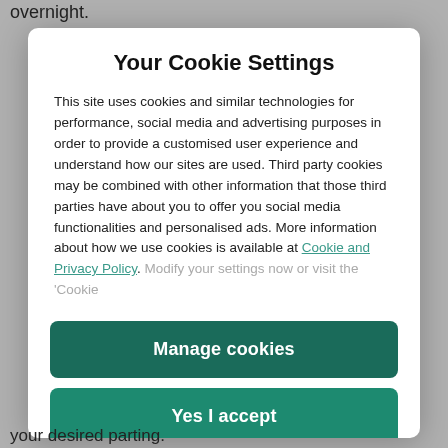overnight.
Your Cookie Settings
This site uses cookies and similar technologies for performance, social media and advertising purposes in order to provide a customised user experience and understand how our sites are used. Third party cookies may be combined with other information that those third parties have about you to offer you social media functionalities and personalised ads. More information about how we use cookies is available at Cookie and Privacy Policy. Modify your settings now or visit the ‘Cookie
Manage cookies
Yes I accept
your desired parting.